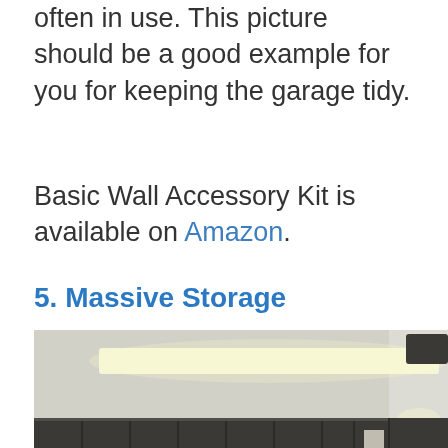often in use. This picture should be a good example for you for keeping the garage tidy.
Basic Wall Accessory Kit is available on Amazon.
5. Massive Storage
[Figure (photo): Interior photo of a garage with dark cabinets along the wall, a fluorescent light fixture on the ceiling, a monitor mounted between cabinets, and a scroll-up button overlay on the right side.]
[Figure (screenshot): Advertisement banner showing a restaurant icon with chef logo, checkmarks for Dine-in and Curbside pickup options, and a blue navigation arrow icon.]